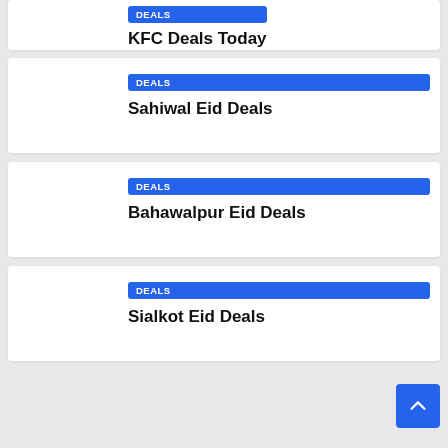DEALS | KFC Deals Today
DEALS | Sahiwal Eid Deals
DEALS | Bahawalpur Eid Deals
DEALS | Sialkot Eid Deals